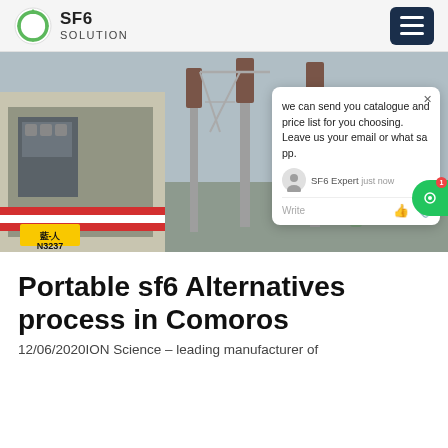SF6 SOLUTION
[Figure (photo): Photo of an SF6 electrical equipment truck/container at a power substation with tall insulator columns. A chat popup overlay is visible showing message: 'we can send you catalogue and price list for you choosing. Leave us your email or whatsapp.' with SF6 Expert label and 'just now' timestamp.]
Portable sf6 Alternatives process in Comoros
12/06/2020ION Science – leading manufacturer of